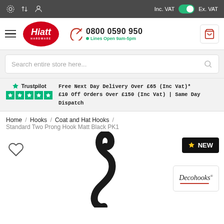Inc. VAT | Ex. VAT toggle; navigation icons
[Figure (logo): Hiatt Hardware logo - red oval with white italic text]
0800 0590 950
Lines Open 9am-5pm
Search entire store here...
Trustpilot
Free Next Day Delivery Over £65 (Inc Vat)*
£10 Off Orders Over £150 (Inc Vat) | Same Day Dispatch
Home / Hooks / Coat and Hat Hooks /
Standard Two Prong Hook Matt Black PK1
[Figure (photo): Black matt two prong coat hook product photo]
NEW
[Figure (logo): Decohooks brand logo]